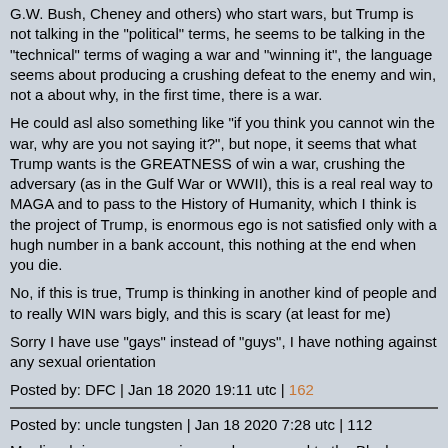G.W. Bush, Cheney and others) who start wars, but Trump is not talking in the "political" terms, he seems to be talking in the "technical" terms of waging a war and "winning it", the language seems about producing a crushing defeat to the enemy and win, not a about why, in the first time, there is a war.
He could asl also something like "if you think you cannot win the war, why are you not saying it?", but nope, it seems that what Trump wants is the GREATNESS of win a war, crushing the adversary (as in the Gulf War or WWII), this is a real real way to MAGA and to pass to the History of Humanity, which I think is the project of Trump, is enormous ego is not satisfied only with a hugh number in a bank account, this nothing at the end when you die.
No, if this is true, Trump is thinking in another kind of people and to really WIN wars bigly, and this is scary (at least for me)
Sorry I have use "gays" instead of "guys", I have nothing against any sexual orientation
Posted by: DFC | Jan 18 2020 19:11 utc | 162
Posted by: uncle tungsten | Jan 18 2020 7:28 utc | 112
Moglivech is a nouveau pipsqueak compared to the Black Nobility.